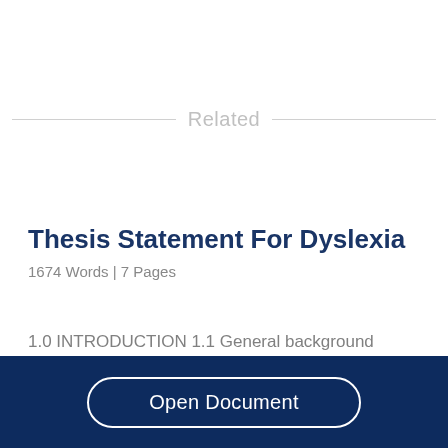Related
Thesis Statement For Dyslexia
1674 Words  | 7 Pages
1.0 INTRODUCTION 1.1 General background
Open Document